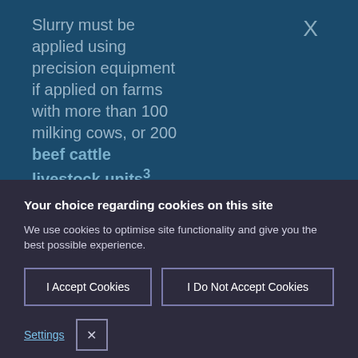Slurry must be applied using precision equipment if applied on farms with more than 100 milking cows, or 200 beef cattle livestock units³
Your choice regarding cookies on this site
We use cookies to optimise site functionality and give you the best possible experience.
I Accept Cookies
I Do Not Accept Cookies
Settings